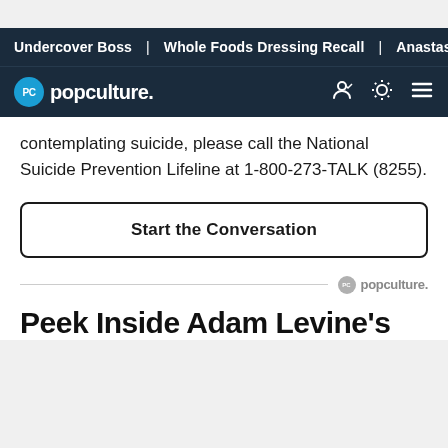Undercover Boss | Whole Foods Dressing Recall | Anastasia
popculture.
contemplating suicide, please call the National Suicide Prevention Lifeline at 1-800-273-TALK (8255).
Start the Conversation
[Figure (logo): popculture. logo with PC circle icon in gray]
Peek Inside Adam Levine's